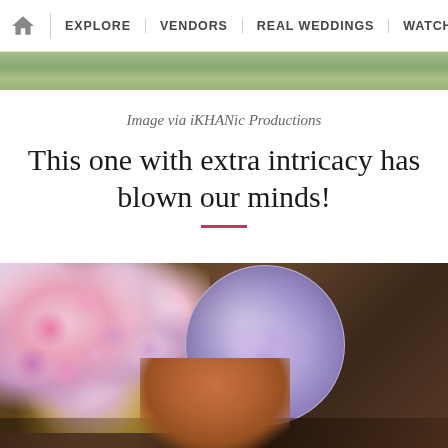🏠 | EXPLORE | VENDORS | REAL WEDDINGS | WATCH
[Figure (photo): Top portion of a photo showing greenery/outdoor scene, partially visible]
Image via iKHANic Productions
This one with extra intricacy has blown our minds!
[Figure (photo): Flat lay photo showing a floral arrangement with pink and purple flowers in a gold box, a glass dome/cloche filled with purple flowers, a stone/clay statue head on a dark wooden surface, and a hand with henna/mehndi design]